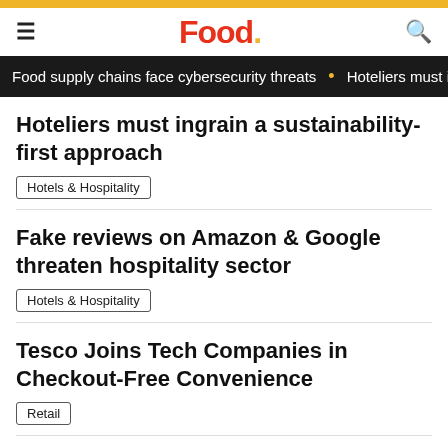Food.
Food supply chains face cybersecurity threats • Hoteliers must ingrain a sustainability-first approach
Hoteliers must ingrain a sustainability-first approach
Hotels & Hospitality
Fake reviews on Amazon & Google threaten hospitality sector
Hotels & Hospitality
Tesco Joins Tech Companies in Checkout-Free Convenience
Retail
...